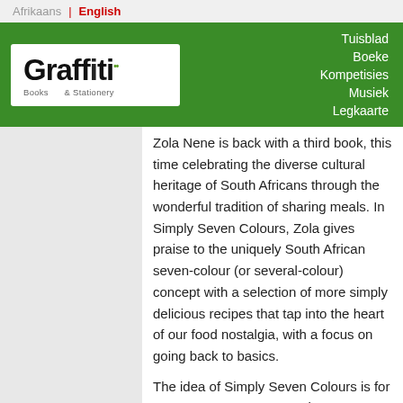Afrikaans | English
[Figure (logo): Graffiti Books & Stationery logo — stylized handwritten 'Graffiti' text with two green dots, white background. Navigation links: Tuisblad, Boeke, Kompetisies, Musiek, Legkaarte on green banner.]
Zola Nene is back with a third book, this time celebrating the diverse cultural heritage of South Africans through the wonderful tradition of sharing meals. In Simply Seven Colours, Zola gives praise to the uniquely South African seven-colour (or several-colour) concept with a selection of more simply delicious recipes that tap into the heart of our food nostalgia, with a focus on going back to basics.
The idea of Simply Seven Colours is for you to create your own unique seven-colour menu, by picking recipes from different